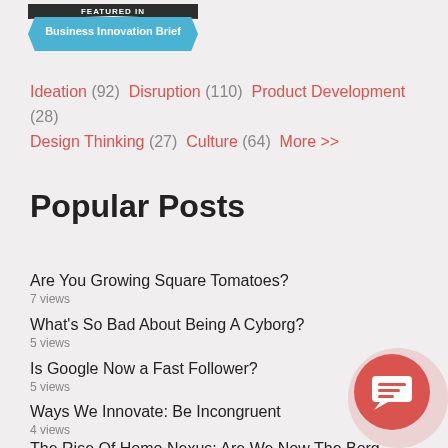[Figure (logo): Featured in Business Innovation Brief badge — dark top ribbon with 'FEATURED IN' text, blue pentagon/arrow shape with 'Business Innovation Brief' text]
Ideation (92) Disruption (110) Product Development (28) Design Thinking (27) Culture (64) More >>
Popular Posts
Are You Growing Square Tomatoes?
7 views
What's So Bad About Being A Cyborg?
5 views
Is Google Now a Fast Follower?
5 views
Ways We Innovate: Be Incongruent
4 views
The Rise Of Homo Nexus: Are We Now The Borg Collective?